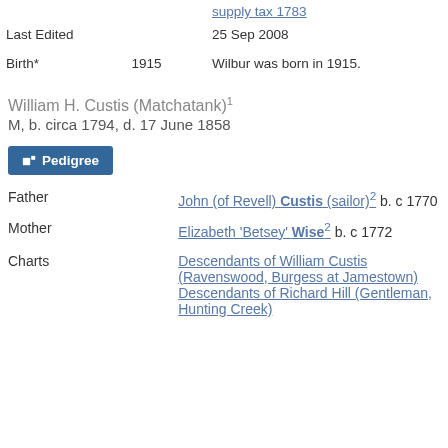| Last Edited |  | 25 Sep 2008 |
| Birth* | 1915 | Wilbur was born in 1915. |
William H. Custis (Matchatank)¹
M, b. circa 1794, d. 17 June 1858
[Figure (other): Pedigree button]
| Father | John (of Revell) Custis (sailor)² b. c 1770 |
| Mother | Elizabeth 'Betsey' Wise² b. c 1772 |
| Charts | Descendants of William Custis (Ravenswood, Burgess at Jamestown)
Descendants of Richard Hill (Gentleman, Hunting Creek) |